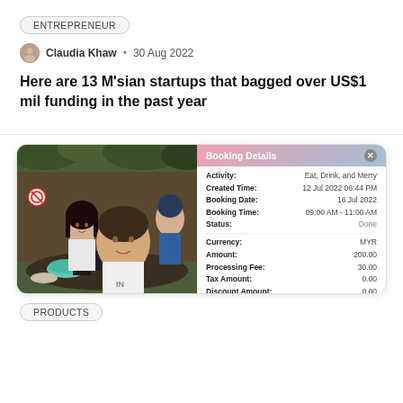ENTREPRENEUR
Claudia Khaw • 30 Aug 2022
Here are 13 M'sian startups that bagged over US$1 mil funding in the past year
[Figure (screenshot): Screenshot of a booking details panel overlaid on a restaurant photo showing two people dining. The booking details show: Activity: Eat, Drink, and Merry; Created Time: 12 Jul 2022 06:44 PM; Booking Date: 16 Jul 2022; Booking Time: 09:00 AM - 11:00 AM; Status: Done; Currency: MYR; Amount: 200.00; Processing Fee: 30.00; Tax Amount: 0.00; Discount Amount: 0.00]
PRODUCTS